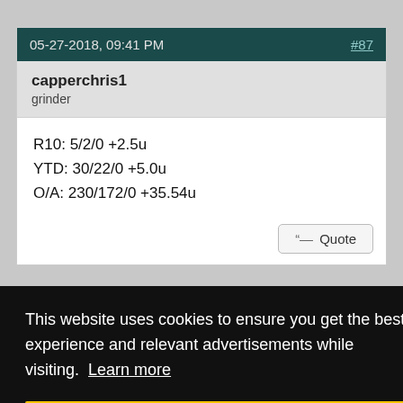05-27-2018, 09:41 PM   #87
capperchris1
grinder
R10: 5/2/0 +2.5u
YTD: 30/22/0 +5.0u
O/A: 230/172/0 +35.54u
Quote
#88
This website uses cookies to ensure you get the best experience and relevant advertisements while visiting. Learn more
Got it!